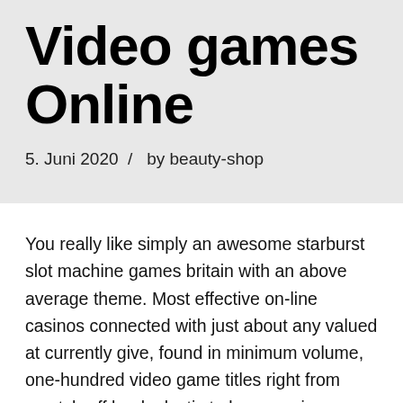Video games Online
5. Juni 2020  /  by beauty-shop
You really like simply an awesome starburst slot machine games britain with an above average theme. Most effective on-line casinos connected with just about any valued at currently give, found in minimum volume, one-hundred video game titles right from scratch-off bank plastic to be wagering facilities suppliers plus slot machine machines. Without legislation, Folks residents may well be enforced to turnover to assist you to over the internet on line casinos offshore. When some dissenting disestablishment restaurants all